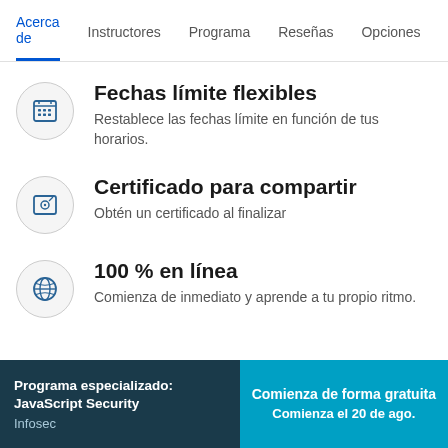Acerca de  Instructores  Programa  Reseñas  Opciones
Fechas límite flexibles — Restablece las fechas límite en función de tus horarios.
Certificado para compartir — Obtén un certificado al finalizar
100 % en línea — Comienza de inmediato y aprende a tu propio ritmo.
Programa especializado: JavaScript Security | Infosec | Comienza de forma gratuita | Comienza el 20 de ago.